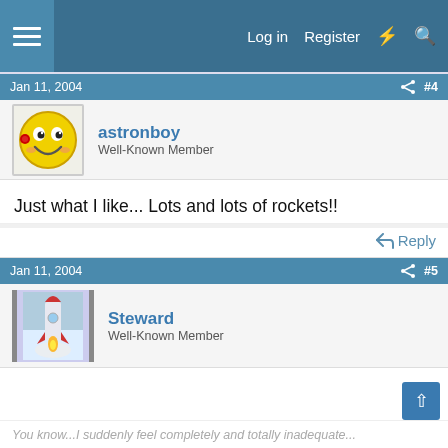Log in  Register
Jan 11, 2004  #4
astronboy
Well-Known Member
Just what I like... Lots and lots of rockets!!
Reply
Jan 11, 2004  #5
Steward
Well-Known Member
You know...I suddenly feel completely and totally inadequate...